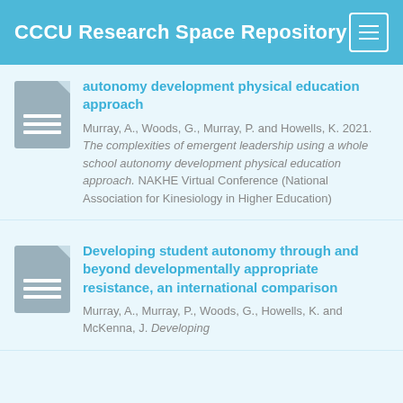CCCU Research Space Repository
autonomy development physical education approach
Murray, A., Woods, G., Murray, P. and Howells, K. 2021. The complexities of emergent leadership using a whole school autonomy development physical education approach. NAKHE Virtual Conference (National Association for Kinesiology in Higher Education)
Developing student autonomy through and beyond developmentally appropriate resistance, an international comparison
Murray, A., Murray, P., Woods, G., Howells, K. and McKenna, J. Developing